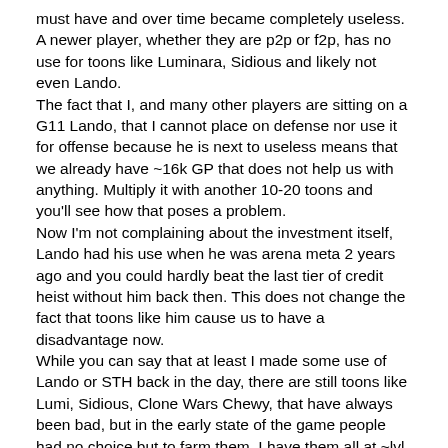must have and over time became completely useless. A newer player, whether they are p2p or f2p, has no use for toons like Luminara, Sidious and likely not even Lando.
The fact that I, and many other players are sitting on a G11 Lando, that I cannot place on defense nor use it for offense because he is next to useless means that we already have ~16k GP that does not help us with anything. Multiply it with another 10-20 toons and you'll see how that poses a problem.
Now I'm not complaining about the investment itself, Lando had his use when he was arena meta 2 years ago and you could hardly beat the last tier of credit heist without him back then. This does not change the fact that toons like him cause us to have a disadvantage now.
While you can say that at least I made some use of Lando or STH back in the day, there are still toons like Lumi, Sidious, Clone Wars Chewy, that have always been bad, but in the early state of the game people had no choice but to farm them. I have them all at ~lvl 70 and G8, for what use? They did not help players back then to stay competitive, you just couldn't have any other toons unless you paid. There's also no point in investing in them any further, G12, lvl 85 and zetas won't make them any better, so they will likely stay at 70 forever, with 10k useless GP for every single one of them.